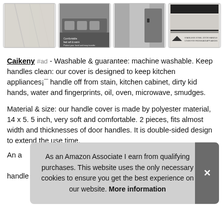[Figure (photo): Row of four product thumbnail images showing handle covers and appliances]
Caikeny #ad - Washable & guarantee: machine washable. Keep handles clean: our cover is designed to keep kitchen appliances¡¯ handle off from stain, kitchen cabinet, dirty kid hands, water and fingerprints, oil, oven, microwave, smudges.
Material & size: our handle cover is made by polyester material, 14 x 5. 5 inch, very soft and comfortable. 2 pieces, fits almost width and thicknesses of door handles. It is double-sided design to extend the use time.
An a... handle of fridge, dish washer and other appliances. Please feel
As an Amazon Associate I earn from qualifying purchases. This website uses the only necessary cookies to ensure you get the best experience on our website. More information